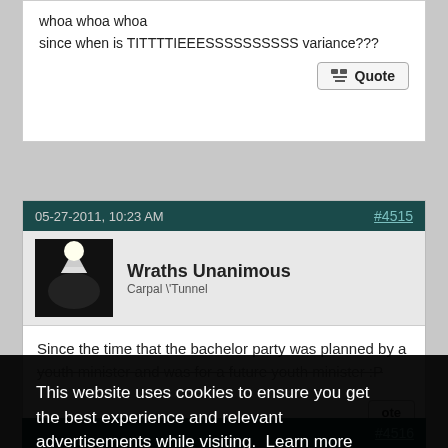whoa whoa whoa
since when is TITTTTIEEESSSSSSSSSS variance???
Quote
05-27-2011, 10:23 AM
#4515
Wraths Unanimous
Carpal \'Tunnel
Since the time that the bachelor party was planned by a youth minister and was for a future youth minister :P
#4516
This website uses cookies to ensure you get the best experience and relevant advertisements while visiting.  Learn more
Got it!